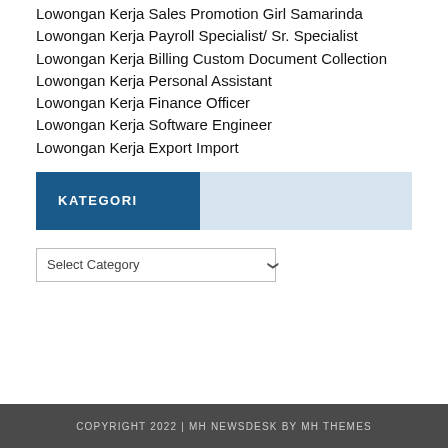Lowongan Kerja Sales Promotion Girl Samarinda
Lowongan Kerja Payroll Specialist/ Sr. Specialist
Lowongan Kerja Billing Custom Document Collection
Lowongan Kerja Personal Assistant
Lowongan Kerja Finance Officer
Lowongan Kerja Software Engineer
Lowongan Kerja Export Import
KATEGORI
Select Category
COPYRIGHT 2022 | MH NEWSDESK BY MH THEMES